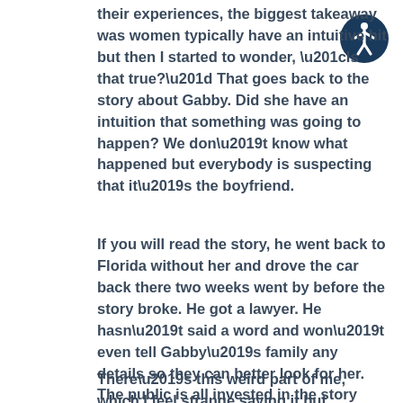their experiences, the biggest takeaway was women typically have an intuitive hit but then I started to wonder, “Is that true?” That goes back to the story about Gabby. Did she have an intuition that something was going to happen? We don’t know what happened but everybody is suspecting that it’s the boyfriend.
If you will read the story, he went back to Florida without her and drove the car back there two weeks went by before the story broke. He got a lawyer. He hasn’t said a word and won’t even tell Gabby’s family any details so they can better look for her. The public is all invested in the story thinking, “Obviously he did it because why wouldn’t he say anything? Wouldn’t he want to be involved?” It’s a heart-wrenching story to follow.
There’s this weird part of me, which I feel strange saying it but she’s gained so much social media